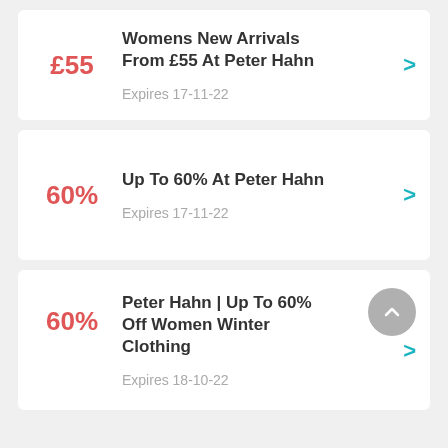£55 — Womens New Arrivals From £55 At Peter Hahn — Expires 17-11-22
60% — Up To 60% At Peter Hahn — Expires 17-11-22
60% — Peter Hahn | Up To 60% Off Women Winter Clothing — Expires 18-10-22